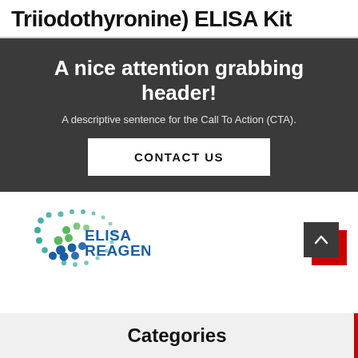Triiodothyronine) ELISA Kit
A nice attention grabbing header!
A descriptive sentence for the Call To Action (CTA).
CONTACT US
[Figure (logo): ELISAREAGENTS logo with dots forming a circular pattern in blue and green]
Categories